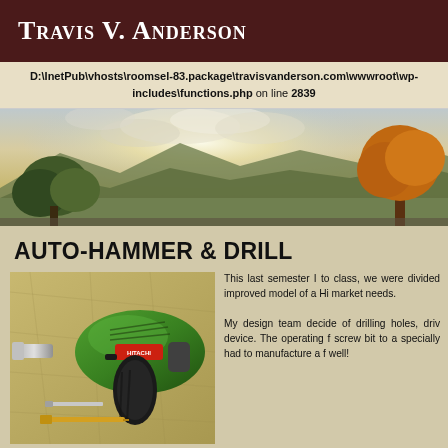Travis V. Anderson
D:\InetPub\vhosts\roomsel-83.package\travisvanderson.com\wwwroot\wp-includes\functions.php on line 2839
[Figure (photo): Landscape/sky photograph used as website hero banner showing sky with clouds, mountains, green trees on left, orange autumn tree on right]
AUTO-HAMMER & DRILL
[Figure (photo): Photo of a green Hitachi cordless drill/impact driver on a map background, with drill bits laid out beside it]
This last semester I to class, we were divided improved model of a Hi market needs.

My design team decide of drilling holes, driv device. The operating f screw bit to a specially had to manufacture a f well!